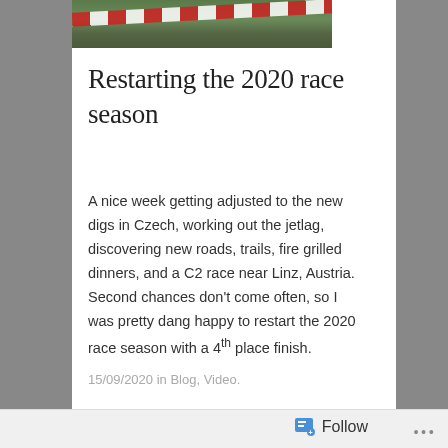[Figure (photo): Partial view of a forest/outdoor scene with red and white tape/barrier in the background, cropped at top of page]
Restarting the 2020 race season
A nice week getting adjusted to the new digs in Czech, working out the jetlag, discovering new roads, trails, fire grilled dinners, and a C2 race near Linz, Austria. Second chances don't come often, so I was pretty dang happy to restart the 2020 race season with a 4th place finish.
15/09/2020 in Blog, Video.
[Figure (photo): Partially visible image thumbnail below the article divider]